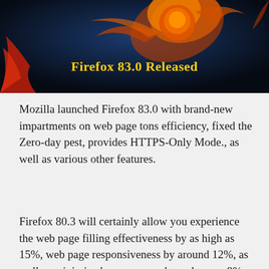[Figure (illustration): Firefox 83.0 Released banner image with Firefox logo (flaming fox) on dark blue/black background with red flame accents and gold text reading 'Firefox 83.0 Released']
Mozilla launched Firefox 83.0 with brand-new impartments on web page tons efficiency, fixed the Zero-day pest, provides HTTPS-Only Mode., as well as various other features.
Firefox 80.3 will certainly allow you experience the web page filling effectiveness by as high as 15%, web page responsiveness by around 12%, as well as minimized memory use by as long as 8%.
Mozilla additionally fixed 21 susceptabilities that including 5 high seriousness